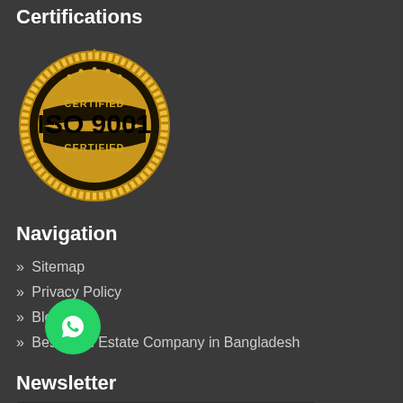Certifications
[Figure (logo): ISO 9001 Certified gold badge/seal]
Navigation
» Sitemap
» Privacy Policy
» Blog
» Best Real Estate Company in Bangladesh
Newsletter
John Abraham (input placeholder)
[Figure (logo): WhatsApp floating action button]